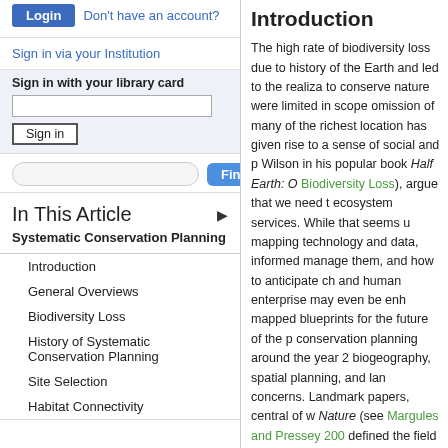Login
Don't have an account?
Sign in via your Institution
Sign in with your library card
Sign in
Find
In This Article
Systematic Conservation Planning
Introduction
General Overviews
Biodiversity Loss
History of Systematic Conservation Planning
Site Selection
Habitat Connectivity
Introduction
The high rate of biodiversity loss due to history of the Earth and led to the realiza to conserve nature were limited in scope omission of many of the richest location has given rise to a sense of social and p Wilson in his popular book Half Earth: C Biodiversity Loss), argue that we need t ecosystem services. While that seems u mapping technology and data, informed manage them, and how to anticipate ch and human enterprise may even be enh mapped blueprints for the future of the p conservation planning around the year 2 biogeography, spatial planning, and lan concerns. Landmark papers, central of w Nature (see Margules and Pressey 200 defined the field as systematically asses in relation to its ability to represent ecol of priority. The field developed rapidly d availability of geospatial data. The relati open-access software, and increased ca academic and conservation entities. Sy top down, command and control, and t